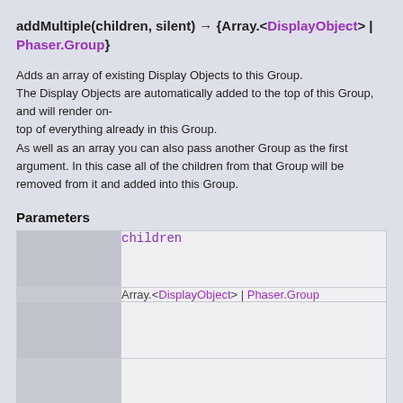addMultiple(children, silent) → {Array.<DisplayObject> | Phaser.Group}
Adds an array of existing Display Objects to this Group.
The Display Objects are automatically added to the top of this Group, and will render on-top of everything already in this Group.
As well as an array you can also pass another Group as the first argument. In this case all of the children from that Group will be removed from it and added into this Group.
Parameters
|  |  |
| --- | --- |
|  | children |
|  | Array.<DisplayObject> | Phaser.Group |
|  |  |
|  |  |
|  | An array of display objects or a Phaser.Group. If a Group is given then all children will be |